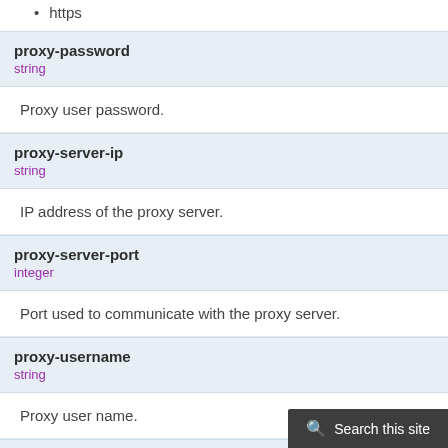https
proxy-password
string
Proxy user password.
proxy-server-ip
string
IP address of the proxy server.
proxy-server-port
integer
Port used to communicate with the proxy server.
proxy-username
string
Proxy user name.
sandbox-region